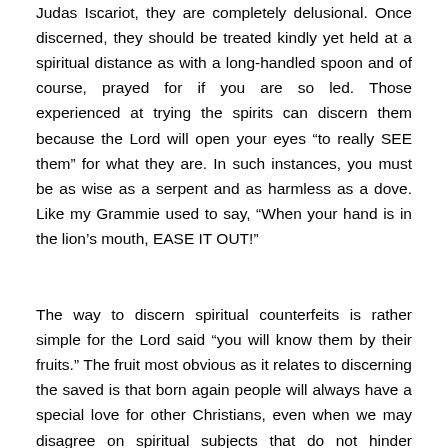Judas Iscariot, they are completely delusional. Once discerned, they should be treated kindly yet held at a spiritual distance as with a long-handled spoon and of course, prayed for if you are so led. Those experienced at trying the spirits can discern them because the Lord will open your eyes “to really SEE them” for what they are. In such instances, you must be as wise as a serpent and as harmless as a dove. Like my Grammie used to say, “When your hand is in the lion’s mouth, EASE IT OUT!”
The way to discern spiritual counterfeits is rather simple for the Lord said “you will know them by their fruits.” The fruit most obvious as it relates to discerning the saved is that born again people will always have a special love for other Christians, even when we may disagree on spiritual subjects that do not hinder anyone’s salvation. .So if you really want to try the spirits, get brave enough to go to